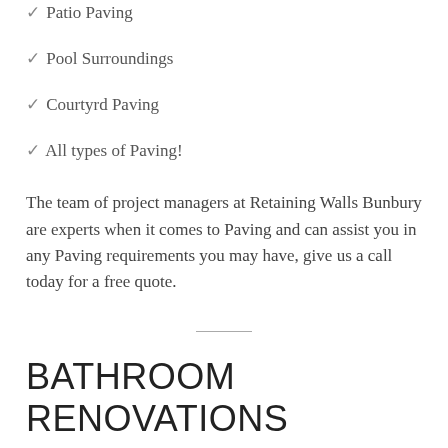✓ Patio Paving
✓ Pool Surroundings
✓ Courtyrd Paving
✓ All types of Paving!
The team of project managers at Retaining Walls Bunbury are experts when it comes to Paving and can assist you in any Paving requirements you may have, give us a call today for a free quote.
BATHROOM RENOVATIONS SUTHERLAND SHIRE
Welcome to Bathroom Renovation Sutherland Shire your